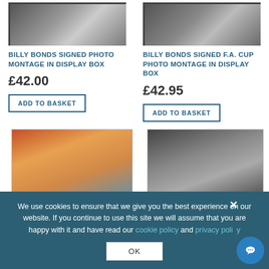[Figure (photo): Framed signed photo montage in display box - top left product]
BILLY BONDS SIGNED PHOTO MONTAGE IN DISPLAY BOX
£42.00
ADD TO BASKET
[Figure (photo): Framed signed F.A. Cup photo montage in display box - top right product]
BILLY BONDS SIGNED F.A. CUP PHOTO MONTAGE IN DISPLAY BOX
£42.95
ADD TO BASKET
[Figure (photo): Color photo of player lifting trophy (FA Cup) - bottom left]
[Figure (photo): Black and white match action photo with signature overlay - bottom right]
We use cookies to ensure that we give you the best experience on our website. If you continue to use this site we will assume that you are happy with it and have read our cookie policy and privacy policy
OK